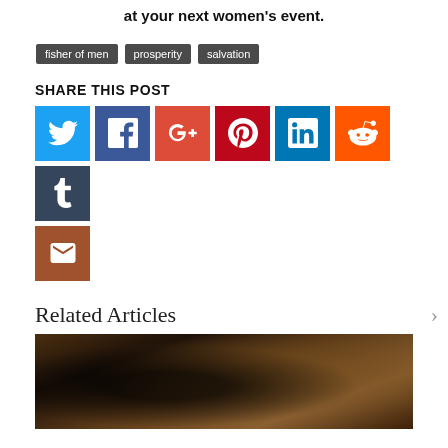at your next women's event.
fisher of men
prosperity
salvation
SHARE THIS POST
[Figure (infographic): Social media share buttons: Twitter, Facebook, Google+, Pinterest, LinkedIn, Reddit, Tumblr, Email]
Related Articles
[Figure (photo): Sepia-toned photo showing what appears to be a globe or map with dark objects in the foreground]